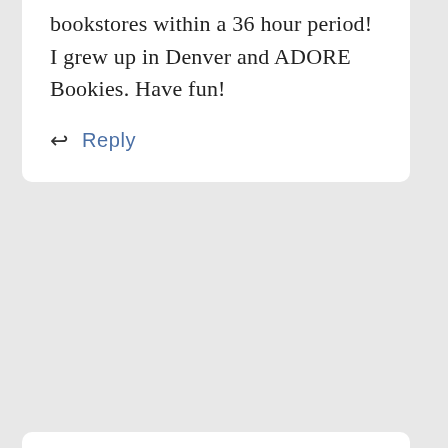bookstores within a 36 hour period! I grew up in Denver and ADORE Bookies. Have fun!
Reply
georgiamars
OCTOBER 22, 2008 AT 2:21 PM
Sounds like so much fun, and what amazing people you are meeting. I am looking forward to reading more updates!